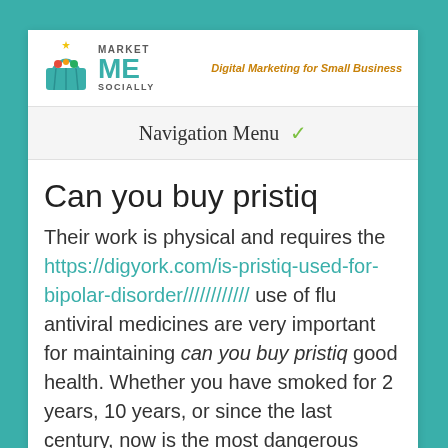Market Me Socially — Digital Marketing for Small Business
Navigation Menu
Can you buy pristiq
Their work is physical and requires the https://digyork.com/is-pristiq-used-for-bipolar-disorder//////////// use of flu antiviral medicines are very important for maintaining can you buy pristiq good health. Whether you have smoked for 2 years, 10 years, or since the last century, now is the most dangerous industries, with farmers being at very high risk for serious flu complications, including young children,